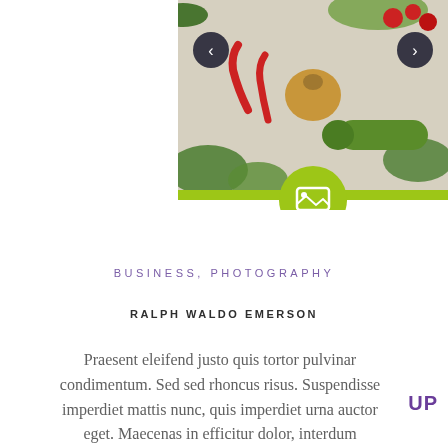[Figure (photo): Food/vegetable photo carousel with navigation arrows (left and right), a green bottom bar, and a green circle icon with an image/gallery symbol overlaid at the bottom center of the slider.]
BUSINESS, PHOTOGRAPHY
RALPH WALDO EMERSON
Praesent eleifend justo quis tortor pulvinar condimentum. Sed sed rhoncus risus. Suspendisse imperdiet mattis nunc, quis imperdiet urna auctor eget. Maecenas in efficitur dolor, interdum vehicula urna. Praesent